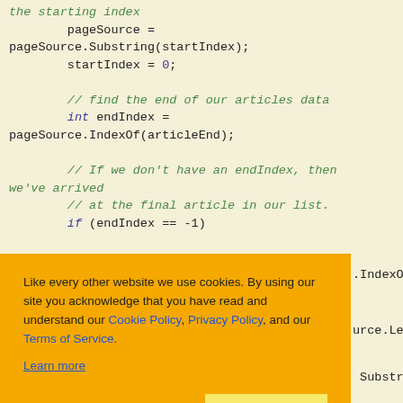[Figure (screenshot): Code snippet showing C# pageSource string manipulation with comments, on a yellowish background. Cookie consent banner overlaid in orange with 'Ask me later', 'Decline', and 'Allow cookies' buttons.]